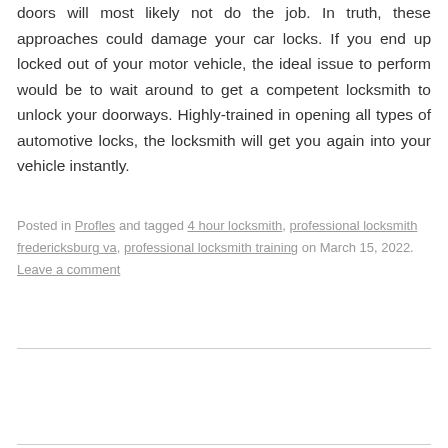doors will most likely not do the job. In truth, these approaches could damage your car locks. If you end up locked out of your motor vehicle, the ideal issue to perform would be to wait around to get a competent locksmith to unlock your doorways. Highly-trained in opening all types of automotive locks, the locksmith will get you again into your vehicle instantly.
Posted in Profles and tagged 4 hour locksmith, professional locksmith fredericksburg va, professional locksmith training on March 15, 2022. Leave a comment